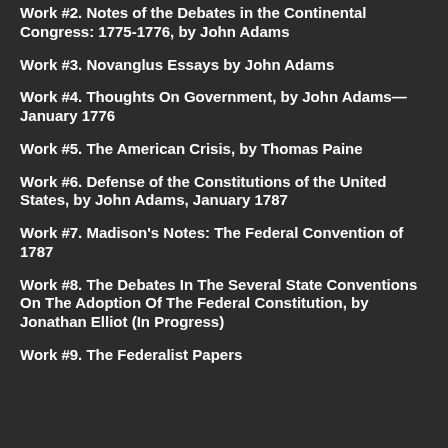Work #2. Notes of the Debates in the Continental Congress: 1775-1776, by John Adams
Work #3. Novanglus Essays by John Adams
Work #4. Thoughts On Government, by John Adams—January 1776
Work #5. The American Crisis, by Thomas Paine
Work #6. Defense of the Constitutions of the United States, by John Adams, January 1787
Work #7. Madison's Notes: The Federal Convention of 1787
Work #8. The Debates In The Several State Conventions On The Adoption Of The Federal Constitution, by Jonathan Elliot (In Progress)
Work #9. The Federalist Papers